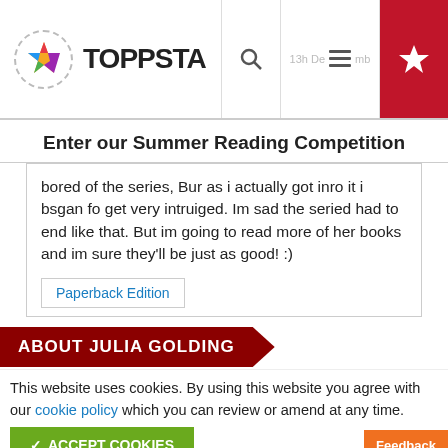[Figure (logo): Toppsta website header with colorful star logo, search icon, hamburger menu, and red star button]
Enter our Summer Reading Competition
bored of the series, Bur as i actually got inro it i bsgan fo get very intruiged. Im sad the seried had to end like that. But im going to read more of her books and im sure they'll be just as good! :)
Paperback Edition
ABOUT JULIA GOLDING
This website uses cookies. By using this website you agree with our cookie policy which you can review or amend at any time.
✓ ACCEPT COOKIES
Feedback